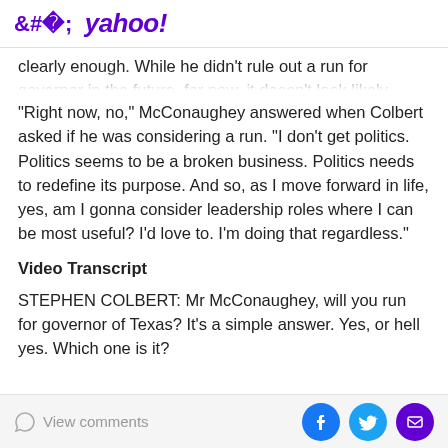< yahoo!
clearly enough. While he didn't rule out a run for governor in the future, for now, it doesn't look likely.
“Right now, no,” McConaughey answered when Colbert asked if he was considering a run. “I don’t get politics. Politics seems to be a broken business. Politics needs to redefine its purpose. And so, as I move forward in life, yes, am I gonna consider leadership roles where I can be most useful? I’d love to. I’m doing that regardless.”
Video Transcript
STEPHEN COLBERT: Mr McConaughey, will you run for governor of Texas? It’s a simple answer. Yes, or hell yes. Which one is it?
View comments